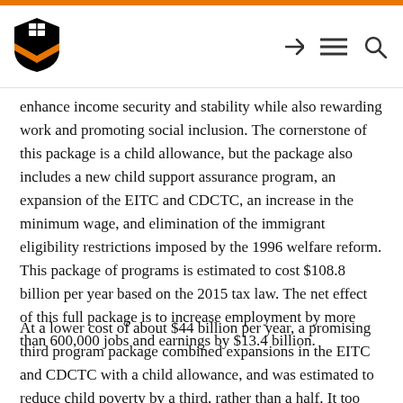Princeton University header with logo and navigation icons
enhance income security and stability while also rewarding work and promoting social inclusion. The cornerstone of this package is a child allowance, but the package also includes a new child support assurance program, an expansion of the EITC and CDCTC, an increase in the minimum wage, and elimination of the immigrant eligibility restrictions imposed by the 1996 welfare reform. This package of programs is estimated to cost $108.8 billion per year based on the 2015 tax law. The net effect of this full package is to increase employment by more than 600,000 jobs and earnings by $13.4 billion.
At a lower cost of about $44 billion per year, a promising third program package combined expansions in the EITC and CDCTC with a child allowance, and was estimated to reduce child poverty by a third, rather than a half. It too